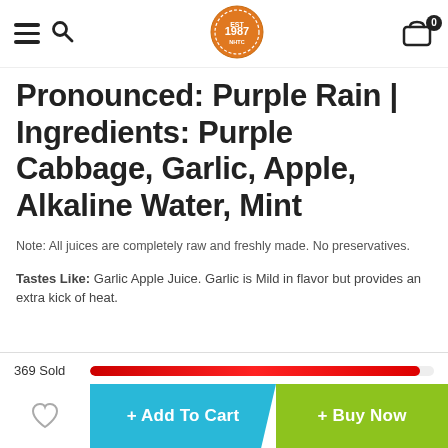Navigation bar with hamburger menu, search icon, logo, and cart (0)
Pronounced: Purple Rain | Ingredients: Purple Cabbage, Garlic, Apple, Alkaline Water, Mint
Note: All juices are completely raw and freshly made. No preservatives.
Tastes Like: Garlic Apple Juice. Garlic is Mild in flavor but provides an extra kick of heat.
369 Sold
+ Add To Cart
+ Buy Now